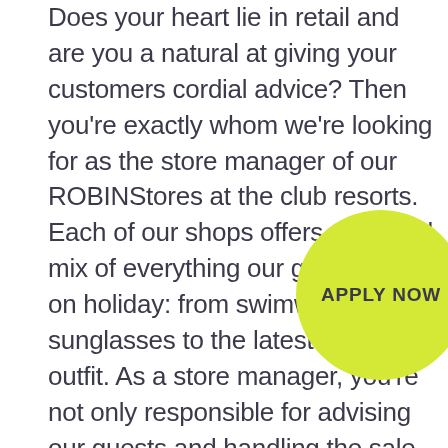Does your heart lie in retail and are you a natural at giving your customers cordial advice? Then you're exactly whom we're looking for as the store manager of our ROBINStores at the club resorts. Each of our shops offers a colorful mix of everything our guests need on holiday: from swimwear and sunglasses to the latest sports outfit. As a store manager, you're not only responsible for advising our guests and handling the sale, but also for your sales staff in the bou... At ROBINSON Clubs, we provide an... friendly atmosphere and great i... between the ROBINS and guests... employees, colleagues and supervis... address each other just as informally as we do with our guests! In your job as a store manager, you contribute to making the guests
[Figure (other): Yellow-green circular button with text 'APPLY NOW' in bold dark letters]